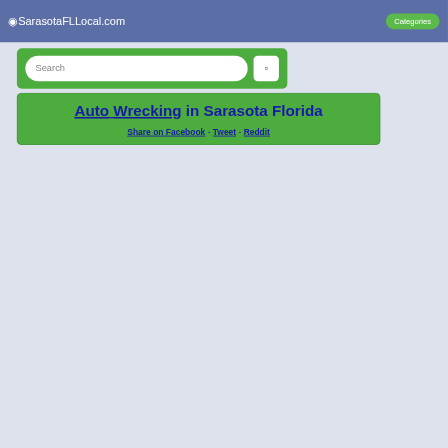⊙SarasotaFLLocal.com   Categories
[Figure (screenshot): Search bar with text input field and search button on green background]
Auto Wrecking in Sarasota Florida
Share on Facebook - Tweet - Reddit